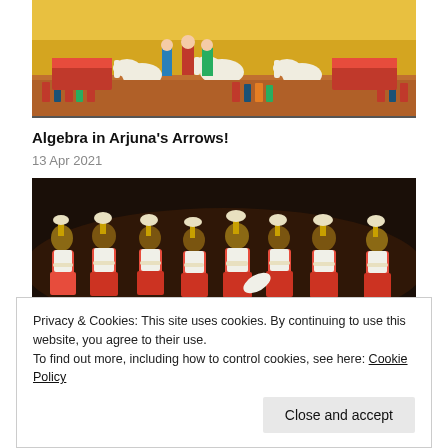[Figure (photo): A colorful traditional Indian painting depicting a battle scene with chariots, horses, warriors, and crowds on a golden/yellow background — likely illustrating a scene from the Mahabharata.]
Algebra in Arjuna's Arrows!
13 Apr 2021
[Figure (photo): A photograph of a group of women performing a traditional tribal folk dance, wearing red and white sarees with beaded necklaces and headdresses, set against a dark background.]
Privacy & Cookies: This site uses cookies. By continuing to use this website, you agree to their use.
To find out more, including how to control cookies, see here: Cookie Policy